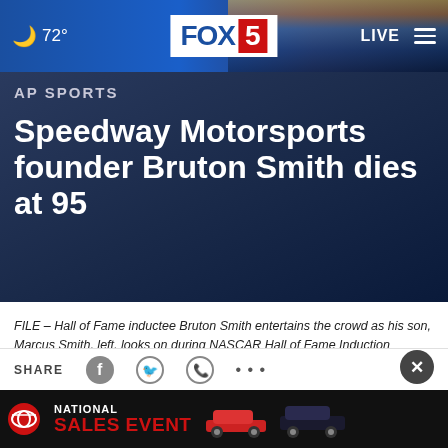72° FOX 5 LIVE
AP SPORTS
Speedway Motorsports founder Bruton Smith dies at 95
FILE – Hall of Fame inductee Bruton Smith entertains the crowd as his son, Marcus Smith, left, looks on during NASCAR Hall of Fame Induction ceremonies… Read More
by: JENNA FRYER, Associated Press
Posted: Jun 22, 2022 / 01:46 PM PDT
Updated: Jun 22, 2022 / 03:16 PM PDT
SHARE | National Toyota Sales Event advertisement